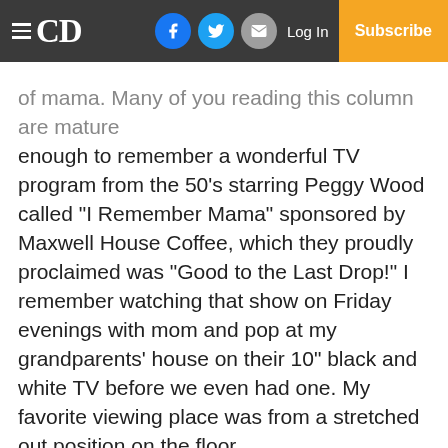CD | Log In | Subscribe
of mama. Many of you reading this column are mature enough to remember a wonderful TV program from the 50’s starring Peggy Wood called “I Remember Mama” sponsored by Maxwell House Coffee, which they proudly proclaimed was “Good to the Last Drop!” I remember watching that show on Friday evenings with mom and pop at my grandparents’ house on their 10” black and white TV before we even had one. My favorite viewing place was from a stretched out position on the floor.